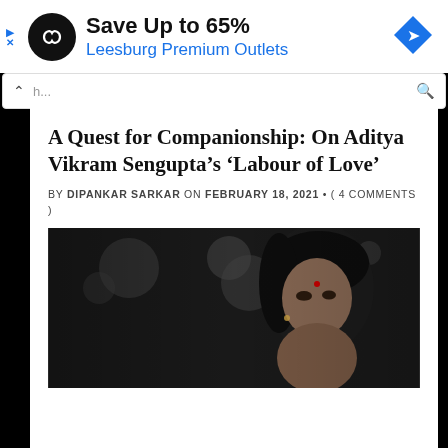[Figure (screenshot): Advertisement banner: black circle logo with infinity/loop icon, 'Save Up to 65%' in bold black text, 'Leesburg Premium Outlets' in blue text, blue diamond arrow icon on the right, small navigation icons on the left]
[Figure (screenshot): Mobile browser search bar with up caret, placeholder text 'h...' and search magnifying glass icon]
A Quest for Companionship: On Aditya Vikram Sengupta’s ‘Labour of Love’
BY DIPANKAR SARKAR ON FEBRUARY 18, 2021 • ( 4 COMMENTS )
[Figure (photo): Dark cinematic photo of a woman with dark hair, wearing a bindi, looking downward, bokeh lights in background]